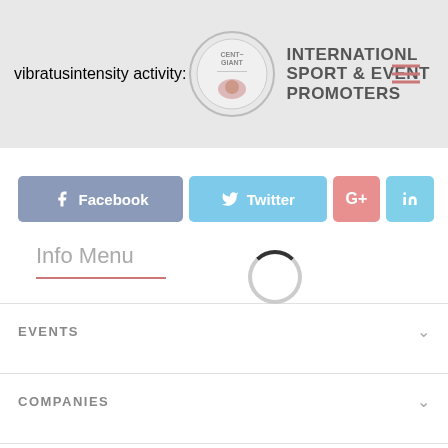[Figure (logo): International Sport & Event Promoters website header with circular logo and navigation hamburger menu]
[Figure (infographic): Social media share buttons: Facebook, Twitter, Google+, LinkedIn]
[Figure (other): Loading spinner circle]
Info Menu
EVENTS
COMPANIES
EVENT MANAGEMENT